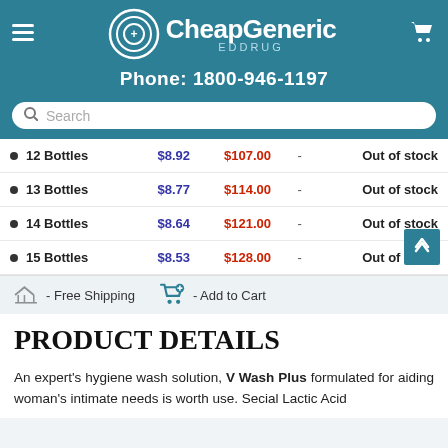[Figure (logo): CheapGeneric EDDRUG logo with circular swoosh icon]
Phone: 1800-946-1197
| Quantity | Price/Unit | Total |  | Availability |
| --- | --- | --- | --- | --- |
| 12 Bottles | $8.92 | $107.00 | - | Out of stock |
| 13 Bottles | $8.77 | $114.00 | - | Out of stock |
| 14 Bottles | $8.64 | $121.00 | - | Out of stock |
| 15 Bottles | $8.53 | $128.00 | - | Out of stock |
- Free Shipping  - Add to Cart
PRODUCT DETAILS
An expert's hygiene wash solution, V Wash Plus formulated for aiding woman's intimate needs is worth use. Secial Lactic Acid